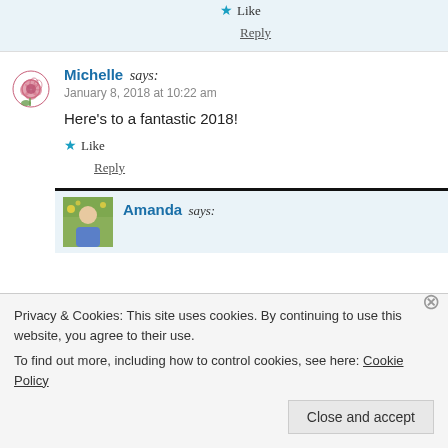★ Like
Reply
Michelle says:
January 8, 2018 at 10:22 am
Here's to a fantastic 2018!
★ Like
Reply
[Figure (photo): User avatar photo of Amanda outdoors]
Amanda says:
Privacy & Cookies: This site uses cookies. By continuing to use this website, you agree to their use.
To find out more, including how to control cookies, see here: Cookie Policy
Close and accept